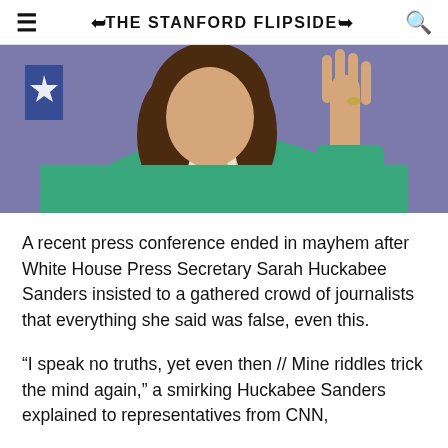THE STANFORD FLIPSIDE
[Figure (photo): Woman in green top with pearl necklace raising her hand at a press conference podium, purple background behind her, partial view showing torso and raised hand with rings.]
A recent press conference ended in mayhem after White House Press Secretary Sarah Huckabee Sanders insisted to a gathered crowd of journalists that everything she said was false, even this.
“I speak no truths, yet even then // Mine riddles trick the mind again,” a smirking Huckabee Sanders explained to representatives from CNN,